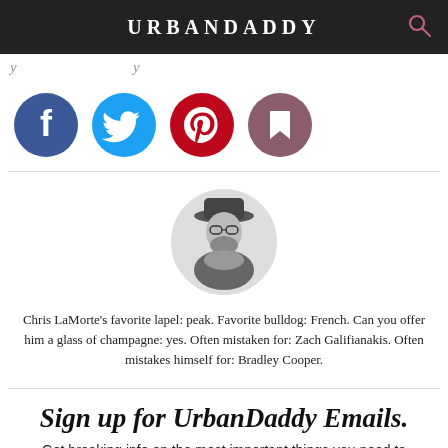URBANDADDY
y ...y
[Figure (illustration): Four social media icon buttons: Facebook (blue), Twitter (light blue), Pinterest (red), Bookmark (mauve/dark pink)]
[Figure (photo): Circular author photo of a bearded man wearing a hat and scarf, black and white photo]
Chris LaMorte's favorite lapel: peak. Favorite bulldog: French. Can you offer him a glass of champagne: yes. Often mistaken for: Zach Galifianakis. Often mistakes himself for: Bradley Cooper.
Sign up for UrbanDaddy Emails.
Get breaking info on the most important things you need to know